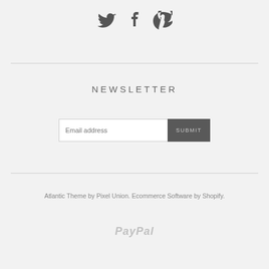[Figure (other): Three social media icons: Twitter bird, Facebook 'f', and Pinterest 'P' in dark gray]
NEWSLETTER
[Figure (other): Email address input field with SUBMIT button]
Atlantic Theme by Pixel Union. Ecommerce Software by Shopify.
[Figure (logo): PayPal logo in light gray italic text]